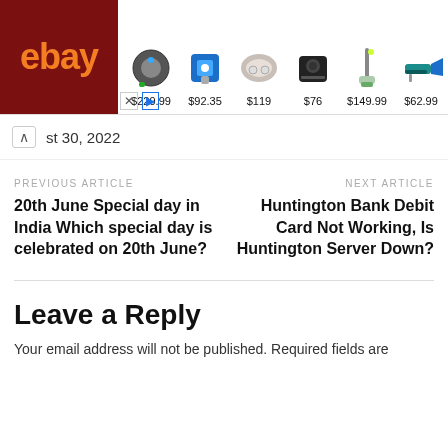[Figure (screenshot): eBay advertisement banner showing logo and 6 products with prices: $229.99 (robot vacuum), $92.35 (power tool kit), $119 (earbuds), $76 (speaker), $149.99 (vacuum), $62.99 (saw). X and play ad controls shown.]
st 30, 2022
PREVIOUS ARTICLE
20th June Special day in India Which special day is celebrated on 20th June?
NEXT ARTICLE
Huntington Bank Debit Card Not Working, Is Huntington Server Down?
Leave a Reply
Your email address will not be published. Required fields are